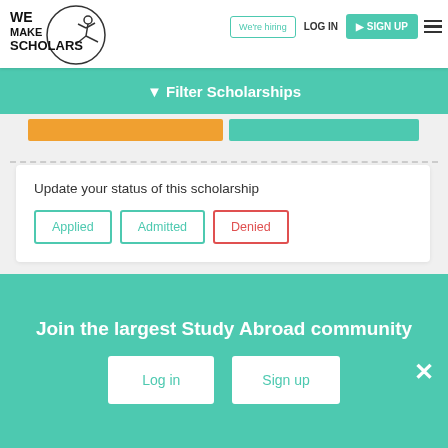[Figure (logo): We Make Scholars logo with circle and figure]
We're hiring | LOG IN | SIGN UP
Filter Scholarships
Update your status of this scholarship
Applied
Admitted
Denied
[Figure (logo): Blue chain/rings logo for scholarship listing]
Expires in
10 days
Join the largest Study Abroad community
Log in
Sign up